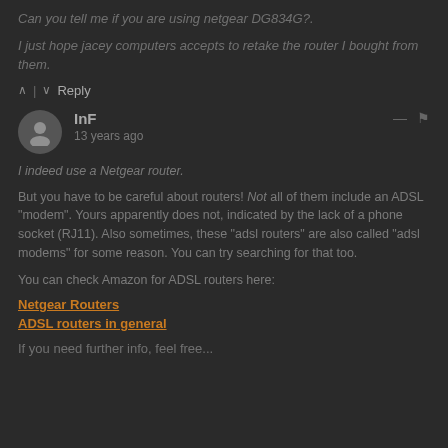Can you tell me if you are using netgear DG834G?.
I just hope jacey computers accepts to retake the router I bought from them.
^ | v  Reply
InF
13 years ago
I indeed use a Netgear router.
But you have to be careful about routers! Not all of them include an ADSL "modem". Yours apparently does not, indicated by the lack of a phone socket (RJ11). Also sometimes, these "adsl routers" are also called "adsl modems" for some reason. You can try searching for that too.
You can check Amazon for ADSL routers here:
Netgear Routers
ADSL routers in general
If you need further info, feel free...